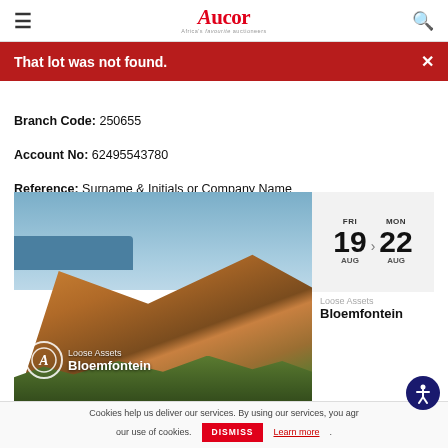Aucor — Africa's favourite auctioneers
That lot was not found.
Branch Code: 250655
Account No: 62495543780
Reference: Surname & Initials or Company Name
[Figure (screenshot): Aucor auction event card showing a mountain landscape photo with Aucor logo overlay, date range FRI 19 AUG to MON 22 AUG, Loose Assets label, and Bloemfontein location]
Cookies help us deliver our services. By using our services, you agr... our use of cookies.